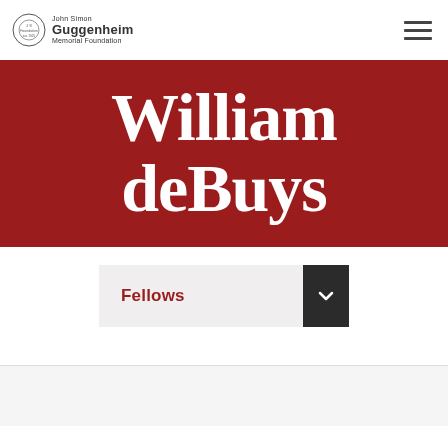John Simon Guggenheim Memorial Foundation
William deBuys
Fellows